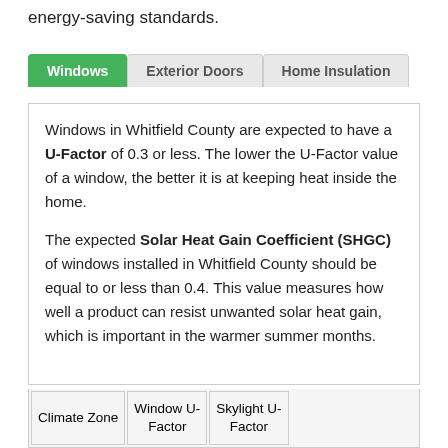energy-saving standards.
Windows | Exterior Doors | Home Insulation
Windows in Whitfield County are expected to have a U-Factor of 0.3 or less. The lower the U-Factor value of a window, the better it is at keeping heat inside the home.
The expected Solar Heat Gain Coefficient (SHGC) of windows installed in Whitfield County should be equal to or less than 0.4. This value measures how well a product can resist unwanted solar heat gain, which is important in the warmer summer months.
| Climate Zone | Window U-Factor | Skylight U-Factor |
| --- | --- | --- |